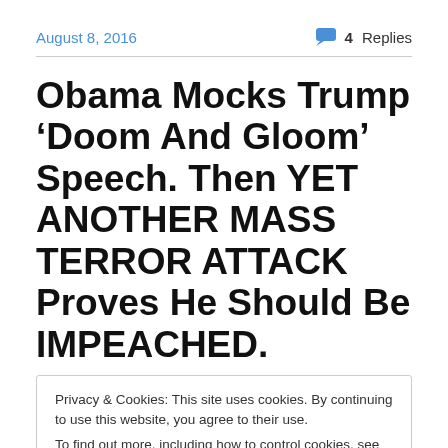August 8, 2016
4 Replies
Obama Mocks Trump ‘Doom And Gloom’ Speech. Then YET ANOTHER MASS TERROR ATTACK Proves He Should Be IMPEACHED.
Privacy & Cookies: This site uses cookies. By continuing to use this website, you agree to their use.
To find out more, including how to control cookies, see here: Cookie Policy
He’s done that a few times